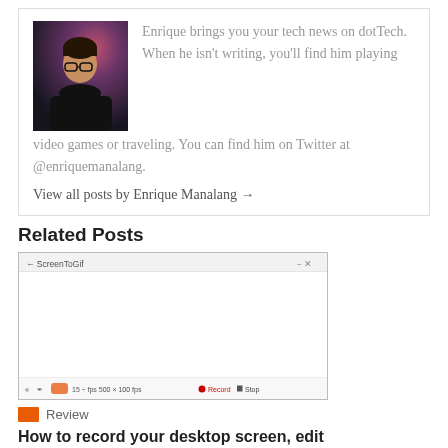[Figure (photo): Author photo: young man with glasses in dark clothing, dark background with bokeh lighting]
Enrique brings you your tech news on dotTech. When he isn't writing, you'll find him playing video games or traveling. You can find him on Twitter at @enriquemanalang.
View all posts by Enrique Manalang →
Related Posts
[Figure (screenshot): Screenshot of ScreenToGif application window showing the recorder interface with toolbar containing Record and Stop buttons]
Review
How to record your desktop screen, edit and export like a pro with ScreenToGif [Windows]